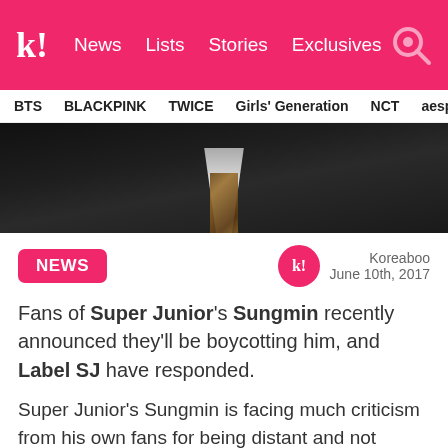k! News Lists Stories Exclusives
BTS  BLACKPINK  TWICE  Girls' Generation  NCT  aespa
[Figure (photo): Close-up of a man in a dark suit with a plaid tie and white dress shirt collar visible]
NEWS
Koreaboo
June 10th, 2017
Fans of Super Junior's Sungmin recently announced they'll be boycotting him, and Label SJ have responded.
Super Junior's Sungmin is facing much criticism from his own fans for being distant and not updating his fans about his major life changes and milestones.